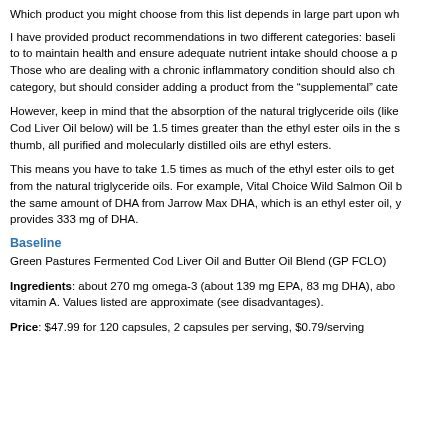Which product you might choose from this list depends in large part upon wh
I have provided product recommendations in two different categories: baseli to to maintain health and ensure adequate nutrient intake should choose a p Those who are dealing with a chronic inflammatory condition should also ch category, but should consider adding a product from the "supplemental" cate
However, keep in mind that the absorption of the natural triglyceride oils (like Cod Liver Oil below) will be 1.5 times greater than the ethyl ester oils in the s thumb, all purified and molecularly distilled oils are ethyl esters.
This means you have to take 1.5 times as much of the ethyl ester oils to get from the natural triglyceride oils. For example, Vital Choice Wild Salmon Oil the same amount of DHA from Jarrow Max DHA, which is an ethyl ester oil, y provides 333 mg of DHA.
Baseline
Green Pastures Fermented Cod Liver Oil and Butter Oil Blend (GP FCLO)
Ingredients: about 270 mg omega-3 (about 139 mg EPA, 83 mg DHA), abo vitamin A. Values listed are approximate (see disadvantages).
Price: $47.99 for 120 capsules, 2 capsules per serving, $0.79/serving